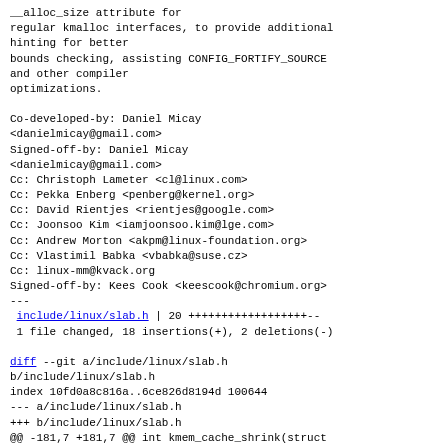__alloc_size attribute for regular kmalloc interfaces, to provide additional hinting for better bounds checking, assisting CONFIG_FORTIFY_SOURCE and other compiler optimizations.

Co-developed-by: Daniel Micay <danielmicay@gmail.com>
Signed-off-by: Daniel Micay <danielmicay@gmail.com>
Cc: Christoph Lameter <cl@linux.com>
Cc: Pekka Enberg <penberg@kernel.org>
Cc: David Rientjes <rientjes@google.com>
Cc: Joonsoo Kim <iamjoonsoo.kim@lge.com>
Cc: Andrew Morton <akpm@linux-foundation.org>
Cc: Vlastimil Babka <vbabka@suse.cz>
Cc: linux-mm@kvack.org
Signed-off-by: Kees Cook <keescook@chromium.org>
---
 include/linux/slab.h | 20 ++++++++++++++++--
 1 file changed, 18 insertions(+), 2 deletions(-)

diff --git a/include/linux/slab.h b/include/linux/slab.h
index 10fd0a8c816a..6ce826d8194d 100644
--- a/include/linux/slab.h
+++ b/include/linux/slab.h
@@ -181,7 +181,7 @@ int kmem_cache_shrink(struct kmem_cache *s);